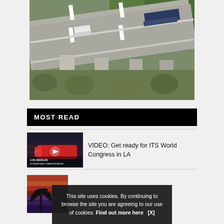[Figure (photo): Aerial view of a highway overpass/bridge with trucks and cars driving on it, surrounded by trees and landscape below]
MOST READ
[Figure (photo): Thumbnail showing a red train with 'LOS ANGELES IS REDEFINING TRANSPORTATION' text overlay, with play button icon]
VIDEO: Get ready for ITS World Congress in LA
[Figure (photo): Thumbnail showing colorful lights with a palm tree silhouette - partial view]
This site uses cookies. By continuing to browse the site you are agreeing to our use of cookies. Find out more here    [X]